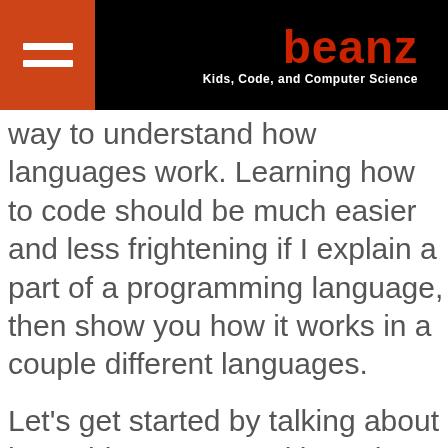beanz — Kids, Code, and Computer Science
way to understand how languages work. Learning how to code should be much easier and less frightening if I explain a part of a programming language, then show you how it works in a couple different languages.
Let's get started by talking about how objects are used in Python and PHP.